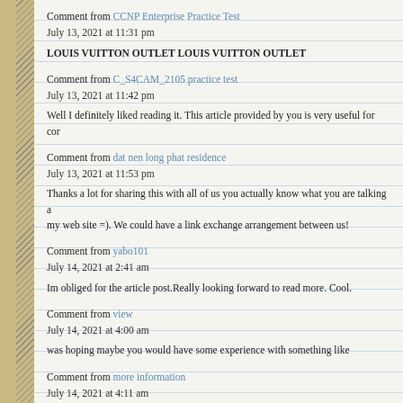Comment from CCNP Enterprise Practice Test
July 13, 2021 at 11:31 pm

LOUIS VUITTON OUTLET LOUIS VUITTON OUTLET
Comment from C_S4CAM_2105 practice test
July 13, 2021 at 11:42 pm

Well I definitely liked reading it. This article provided by you is very useful for cor…
Comment from dat nen long phat residence
July 13, 2021 at 11:53 pm

Thanks a lot for sharing this with all of us you actually know what you are talking a… my web site =). We could have a link exchange arrangement between us!
Comment from yabo101
July 14, 2021 at 2:41 am

Im obliged for the article post.Really looking forward to read more. Cool.
Comment from view
July 14, 2021 at 4:00 am

was hoping maybe you would have some experience with something like
Comment from more information
July 14, 2021 at 4:11 am